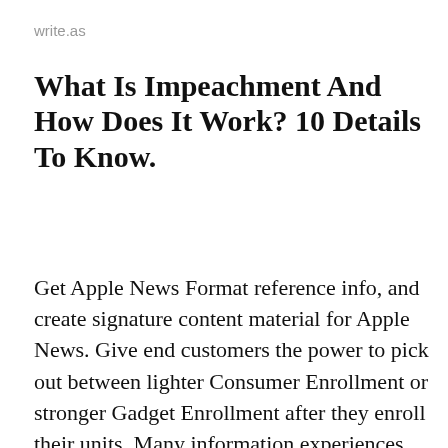write.as
What Is Impeachment And How Does It Work? 10 Details To Know.
Get Apple News Format reference info, and create signature content material for Apple News. Give end customers the power to pick out between lighter Consumer Enrollment or stronger Gadget Enrollment after they enroll their units. Many information experiences on tv, for instance, are merely observe-up stories about